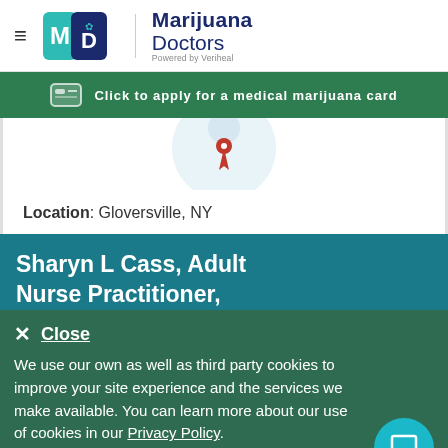[Figure (logo): Marijuana Doctors logo with MD icon and 'Powered by Veriheal' tagline]
Click to apply for a medical marijuana card
[Figure (photo): Partial view of a doctor profile image with map pin icon]
Location: Gloversville, NY
Sharyn L Cass, Adult Nurse Practitioner,
Close
We use our own as well as third party cookies to improve your site experience and the services we make available. You can learn more about our use of cookies in our Privacy Policy.